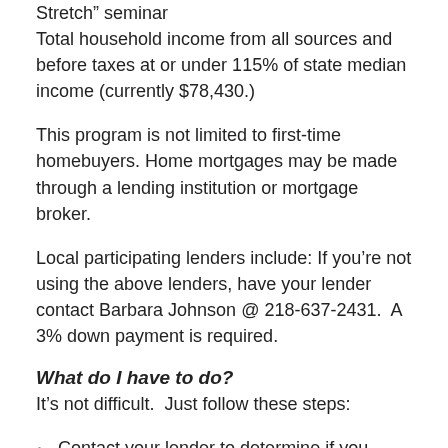Stretch” seminar
Total household income from all sources and before taxes at or under 115% of state median income (currently $78,430.)
This program is not limited to first-time homebuyers. Home mortgages may be made through a lending institution or mortgage broker.
Local participating lenders include: If you’re not using the above lenders, have your lender contact Barbara Johnson @ 218-637-2431.  A 3% down payment is required.
What do I have to do?
It’s not difficult.  Just follow these steps:
Contact your lender to determine if you meet the income requirements of the program